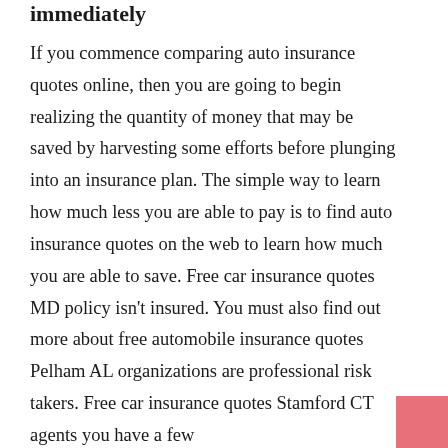immediately
If you commence comparing auto insurance quotes online, then you are going to begin realizing the quantity of money that may be saved by harvesting some efforts before plunging into an insurance plan. The simple way to learn how much less you are able to pay is to find auto insurance quotes on the web to learn how much you are able to save. Free car insurance quotes MD policy isn't insured. You must also find out more about free automobile insurance quotes Pelham AL organizations are professional risk takers. Free car insurance quotes Stamford CT agents you have a few